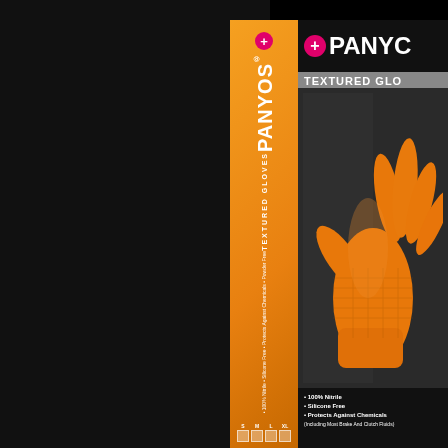[Figure (photo): Product photo of PANYOS Textured Gloves box packaging. Orange and black box shown at an angle with two panels visible. The orange side panel shows the brand name PANYOS vertically with a pink plus-sign circle logo and 'TEXTURED GLOVES' text below, plus size indicators (S, M, L, XL) at the bottom. The black front panel shows the PANYOS brand name with pink plus-sign circle logo at top, 'TEXTURED GLO' text on a grey bar, and an orange nitrile glove prominently displayed. Bottom lists features: 100% Nitrile, Silicone Free, Protects Against Chemicals (Including Most Brake And Clutch Fluids).]